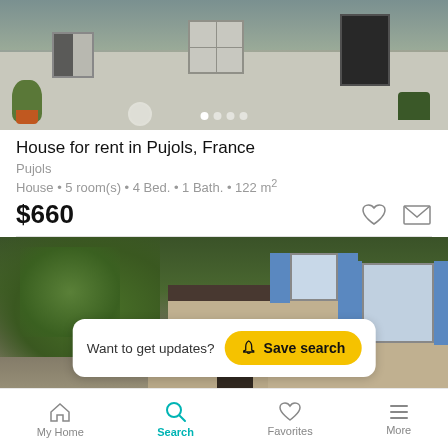[Figure (photo): Exterior photo of a house with white/grey walls, windows, and a plant visible. Carousel dot indicators at the bottom.]
House for rent in Pujols, France
Pujols
House • 5 room(s) • 4 Bed. • 1 Bath. • 122 m²
$660
[Figure (photo): Exterior photo of a house with blue shutters and green trees in foreground. A 'Want to get updates? Save search' banner overlays the bottom of the image.]
My Home  Search  Favorites  More